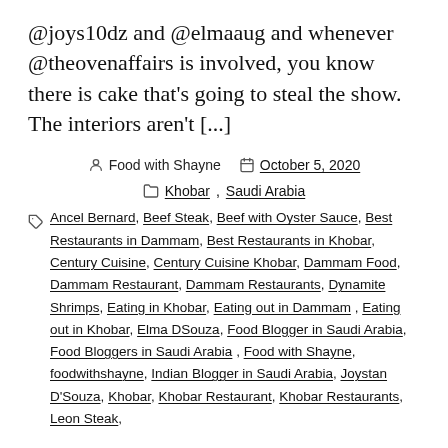@joys10dz and @elmaaug and whenever @theovenaffairs is involved, you know there is cake that's going to steal the show. The interiors aren't [...]
Food with Shayne   October 5, 2020
Khobar, Saudi Arabia
Ancel Bernard, Beef Steak, Beef with Oyster Sauce, Best Restaurants in Dammam, Best Restaurants in Khobar, Century Cuisine, Century Cuisine Khobar, Dammam Food, Dammam Restaurant, Dammam Restaurants, Dynamite Shrimps, Eating in Khobar, Eating out in Dammam, Eating out in Khobar, Elma DSouza, Food Blogger in Saudi Arabia, Food Bloggers in Saudi Arabia, Food with Shayne, foodwithshayne, Indian Blogger in Saudi Arabia, Joystan D'Souza, Khobar, Khobar Restaurant, Khobar Restaurants, Leon Steak,